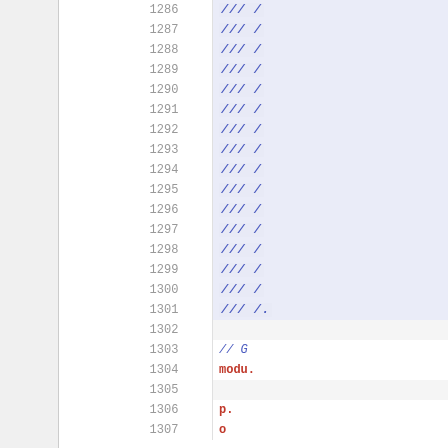| line | code |
| --- | --- |
| 1286 | //// |
| 1287 | //// |
| 1288 | //// |
| 1289 | //// |
| 1290 | //// |
| 1291 | //// |
| 1292 | //// |
| 1293 | //// |
| 1294 | //// |
| 1295 | //// |
| 1296 | //// |
| 1297 | //// |
| 1298 | //// |
| 1299 | //// |
| 1300 | //// |
| 1301 | /////. |
| 1302 |  |
| 1303 | // G... |
| 1304 | modu... |
| 1305 |  |
| 1306 | p... |
| 1307 | o... |